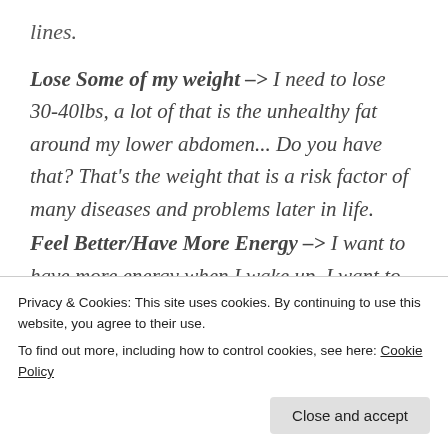lines.
Lose Some of my weight –> I need to lose 30-40lbs, a lot of that is the unhealthy fat around my lower abdomen... Do you have that? That's the weight that is a risk factor of many diseases and problems later in life.
Feel Better/Have More Energy –> I want to have more energy when I wake up, I want to be more alive when Friday kicks around and
Privacy & Cookies: This site uses cookies. By continuing to use this website, you agree to their use.
To find out more, including how to control cookies, see here: Cookie Policy
because I like a variety, just reducing and